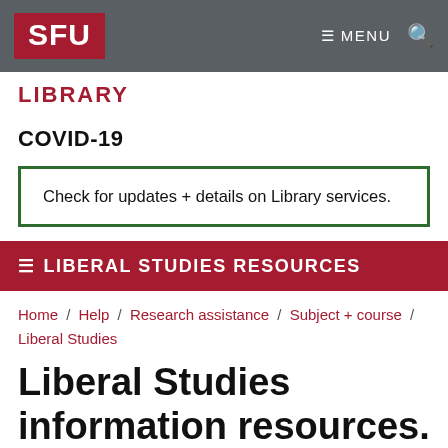SFU | ≡ MENU 🔍
LIBRARY
COVID-19
Check for updates + details on Library services.
≡ LIBERAL STUDIES RESOURCES
Home / Help / Research assistance / Subject + course / Liberal Studies
Liberal Studies information resources. Books & articles